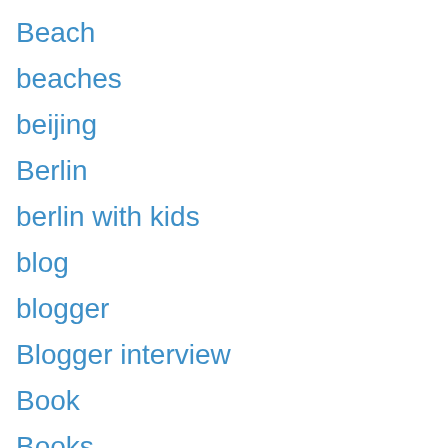Beach
beaches
beijing
Berlin
berlin with kids
blog
blogger
Blogger interview
Book
Books
Brave Ski Mom
british food
campervan
camping with kids